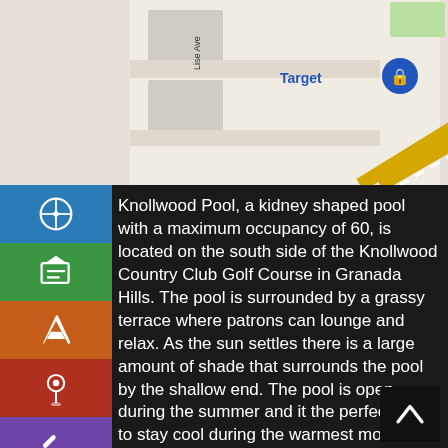[Figure (map): Street map showing Target store location near a High School, with Lise Ave visible.]
Knollwood Pool, a kidney shaped pool with a maximum occupancy of 60, is located on the south side of the Knollwood Country Club Golf Course in Granada Hills. The pool is surrounded by a grassy terrace where patrons can lounge and relax. As the sun settles there is a large amount of shade that surrounds the pool by the shallow end. The pool is open during the summer and it the perfect place to stay cool during the warmest months of the year!